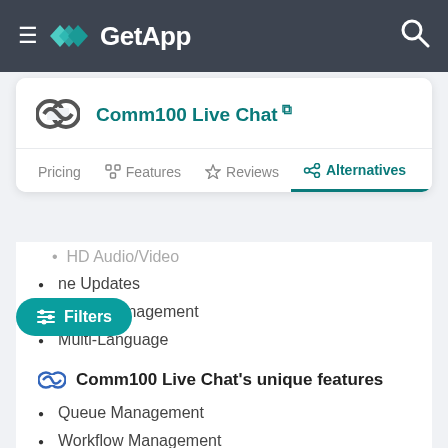GetApp
Comm100 Live Chat
Pricing | Features | Reviews | Alternatives
HD Audio/Video
ne Updates
Brand Management
Multi-Language
Comm100 Live Chat's unique features
Queue Management
Workflow Management
Task Progress Tracking
Progress Tracking